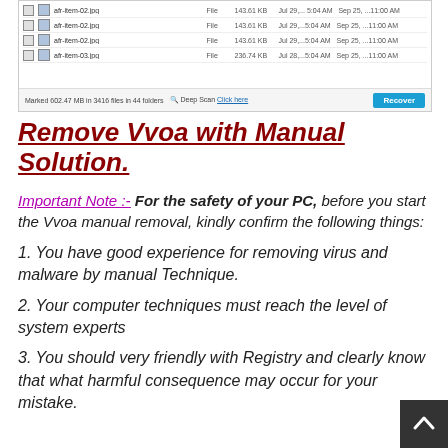[Figure (screenshot): Software recovery tool showing a list of files (afr-item-02.jpg, afr-item-03.jpg etc.) with file sizes around 143-236 KB, dates Jul 29 5:04 AM to Sep 25 11:00 AM, with a status bar showing 'Marked 602.47 MB in 3416 files in 44 folders', a Deep Scan link, and a Recover button.]
Remove Vvoa with Manual Solution.
Important Note :- For the safety of your PC, before you start the Vvoa manual removal, kindly confirm the following things:
1. You have good experience for removing virus and malware by manual Technique.
2. Your computer techniques must reach the level of system experts
3. You should very friendly with Registry and clearly know that what harmful consequence may occur for your mistake.